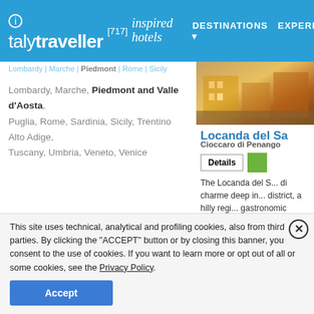italytraveller [717] inspired hotels | DESTINATIONS | EXPERI
Lombardy, Marche, Piedmont and Valle d'Aosta, Puglia, Rome, Sardinia, Sicily, Trentino Alto Adige, Tuscany, Umbria, Veneto, Venice
[Figure (photo): Hotel building exterior photo - warm tones]
Locanda del Sa
Cioccaro di Penango
Details
The Locanda del S... di charme deep in... district, a hilly regi... gastronomic prod... tradition.
[Figure (photo): Building exterior with rust-red facade against blue sky]
This site uses technical, analytical and profiling cookies, also from third parties. By clicking the "ACCEPT" button or by closing this banner, you consent to the use of cookies. If you want to learn more or opt out of all or some cookies, see the Privacy Policy.
Accept